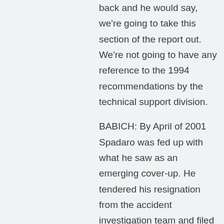back and he would say, we're going to take this section of the report out. We're not going to have any reference to the 1994 recommendations by the technical support division.
BABICH: By April of 2001 Spadaro was fed up with what he saw as an emerging cover-up. He tendered his resignation from the accident investigation team and filed a complaint with the Department of Labor's Office of the Inspector General, alleging that Bush administration officials were obstructing the team's